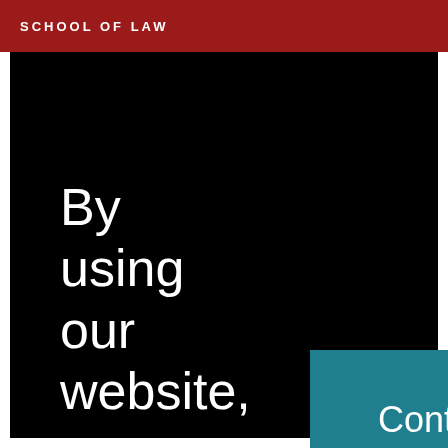SCHOOL OF LAW
By using our website, you agree to our cookie policy
[Figure (other): Teal 'Continue' button]